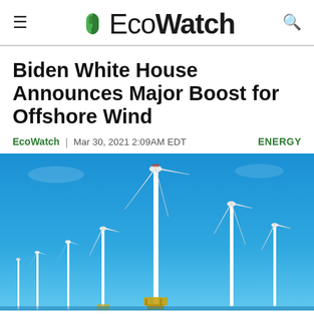EcoWatch
Biden White House Announces Major Boost for Offshore Wind
EcoWatch | Mar 30, 2021 2:09AM EDT    ENERGY
[Figure (photo): Offshore wind turbines against a blue sky, several tall white turbines with rotating blades visible, some with yellow and red bases, shot from a low angle looking up.]